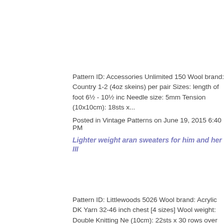Pattern ID: Accessories Unlimited 150 Wool brand: Country 1-2 (4oz skeins) per pair Sizes: length of foot 6½ - 10½ inc Needle size: 5mm Tension (10x10cm): 18sts x...
Posted in Vintage Patterns on June 19, 2015 6:40 PM
Lighter weight aran sweaters for him and her III
Pattern ID: Littlewoods 5026 Wool brand: Acrylic DK Yarn 32-46 inch chest [4 sizes] Wool weight: Double Knitting Ne (10cm): 22sts x 30 rows over st st...
Posted in Vintage Patterns on June 19, 2015 6:19 PM
Lighter weight aran sweaters for him and her II